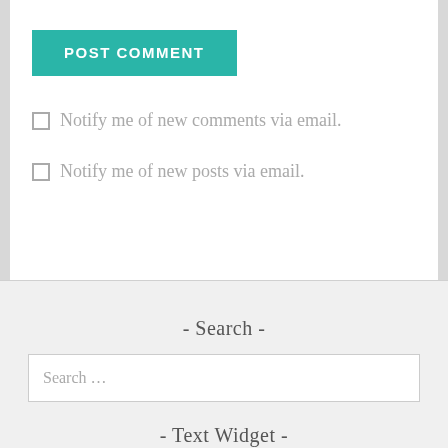[Figure (screenshot): POST COMMENT button with teal background and white bold uppercase text]
Notify me of new comments via email.
Notify me of new posts via email.
- Search -
Search …
- Text Widget -